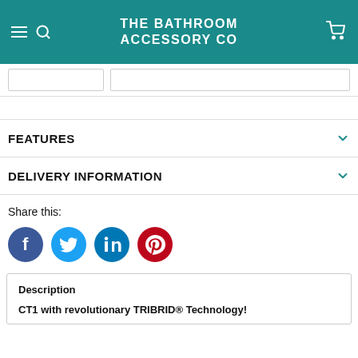THE BATHROOM ACCESSORY CO
FEATURES
DELIVERY INFORMATION
Share this:
[Figure (infographic): Social share icons: Facebook (blue), Twitter (light blue), LinkedIn (dark blue), Pinterest (red)]
Description
CT1 with revolutionary TRIBRID® Technology!